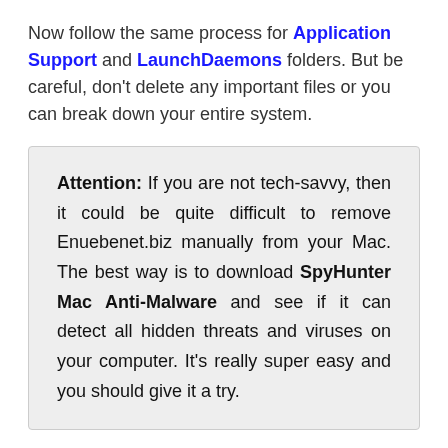Now follow the same process for Application Support and LaunchDaemons folders. But be careful, don't delete any important files or you can break down your entire system.
Attention: If you are not tech-savvy, then it could be quite difficult to remove Enuebenet.biz manually from your Mac. The best way is to download SpyHunter Mac Anti-Malware and see if it can detect all hidden threats and viruses on your computer. It's really super easy and you should give it a try.
How SpyHunter Mac Anti-Malware